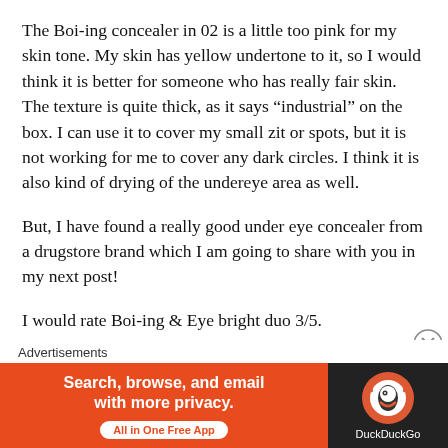The Boi-ing concealer in 02 is a little too pink for my skin tone. My skin has yellow undertone to it, so I would think it is better for someone who has really fair skin. The texture is quite thick, as it says “industrial” on the box. I can use it to cover my small zit or spots, but it is not working for me to cover any dark circles. I think it is also kind of drying of the undereye area as well.
But, I have found a really good under eye concealer from a drugstore brand which I am going to share with you in my next post!
I would rate Boi-ing & Eye bright duo 3/5.
Let me know if you are interested in getting this pick-
Advertisements
[Figure (screenshot): DuckDuckGo advertisement banner with orange left section reading 'Search, browse, and email with more privacy. All in One Free App' and dark right section with DuckDuckGo logo and name.]